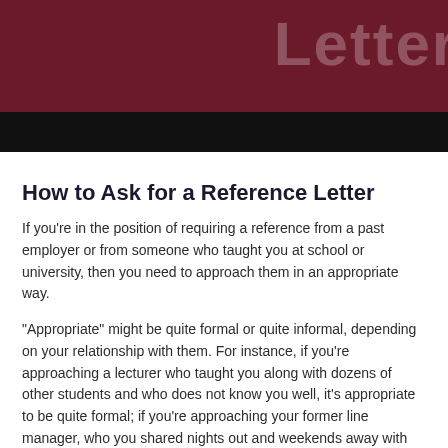[Figure (illustration): Dark maroon/burgundy header banner with large semi-transparent white text reading 'Letter' partially visible on the right side, overlaid by a black bar at the bottom of the banner.]
How to Ask for a Reference Letter
If you're in the position of requiring a reference from a past employer or from someone who taught you at school or university, then you need to approach them in an appropriate way.
“Appropriate” might be quite formal or quite informal, depending on your relationship with them. For instance, if you’re approaching a lecturer who taught you along with dozens of other students and who does not know you well, it’s appropriate to be quite formal; if you’re approaching your former line manager, who you shared nights out and weekends away with for years, then being formal would seem strongly standoffish